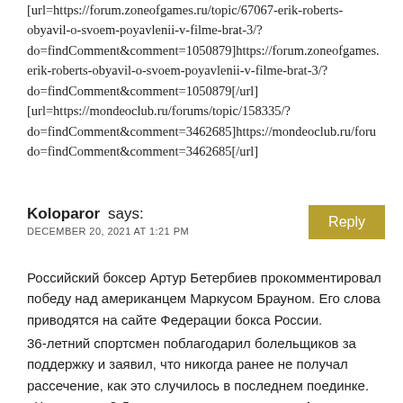[url=https://forum.zoneofgames.ru/topic/67067-erik-roberts-obyavil-o-svoem-poyavlenii-v-filme-brat-3/?do=findComment&comment=1050879]https://forum.zoneofgames.erik-roberts-obyavil-o-svoem-poyavlenii-v-filme-brat-3/?do=findComment&comment=1050879[/url]
[url=https://mondeoclub.ru/forums/topic/158335/?do=findComment&comment=3462685]https://mondeoclub.ru/forudo=findComment&comment=3462685[/url]
Koloparor says:
DECEMBER 20, 2021 AT 1:21 PM
Российский боксер Артур Бетербиев прокомментировал победу над американцем Маркусом Брауном. Его слова приводятся на сайте Федерации бокса России.
36-летний спортсмен поблагодарил болельщиков за поддержку и заявил, что никогда ранее не получал рассечение, как это случилось в последнем поединке. «Что дальше? Для начала надо выспаться. А так я готов боксировать с лучшими. Ведь